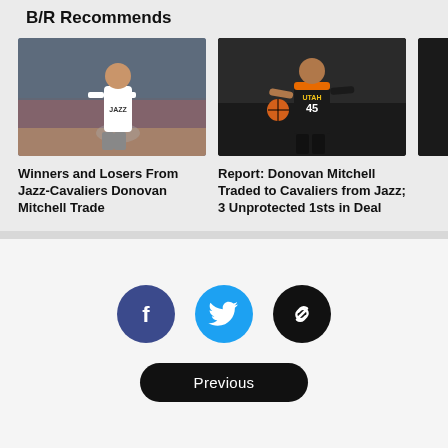B/R Recommends
[Figure (photo): Basketball player in white Jazz practice shirt on court]
[Figure (photo): Donovan Mitchell in Utah Jazz #45 black and red uniform dribbling basketball]
[Figure (photo): Partially visible third article image, dark background]
Winners and Losers From Jazz-Cavaliers Donovan Mitchell Trade
Report: Donovan Mitchell Traded to Cavaliers from Jazz; 3 Unprotected 1sts in Deal
[Figure (illustration): Facebook social share button - blue circle with white F logo]
[Figure (illustration): Twitter social share button - blue circle with white bird logo]
[Figure (illustration): Copy link button - black circle with white chain link icon]
Previous